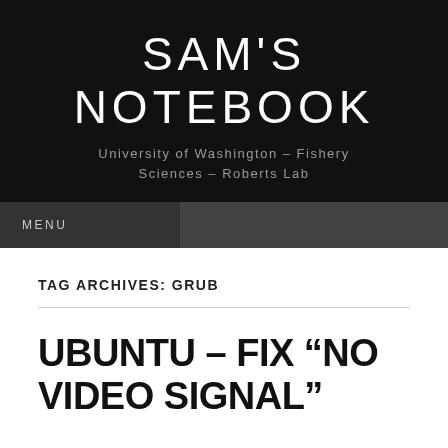SAM'S NOTEBOOK
University of Washington – Fishery Sciences – Roberts Lab
MENU
TAG ARCHIVES: GRUB
UBUNTU – FIX “NO VIDEO SIGNAL”